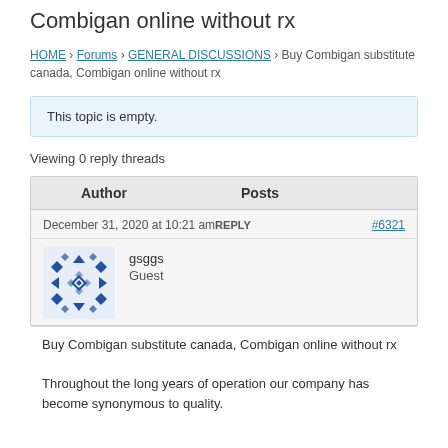Combigan online without rx
HOME › Forums › GENERAL DISCUSSIONS › Buy Combigan substitute canada, Combigan online without rx
This topic is empty.
Viewing 0 reply threads
| Author | Posts |
| --- | --- |
| December 31, 2020 at 10:21 am REPLY | #6321 |
| gsggs
Guest |  |
Buy Combigan substitute canada, Combigan online without rx

Throughout the long years of operation our company has become synonymous to quality.